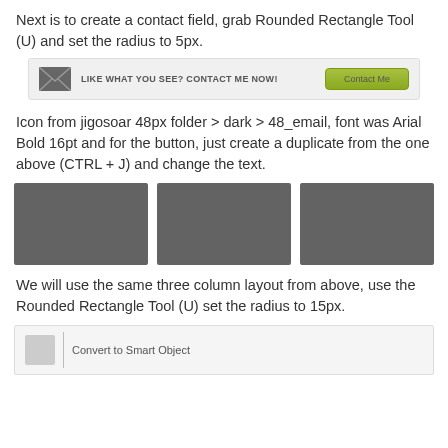Next is to create a contact field, grab Rounded Rectangle Tool (U) and set the radius to 5px.
[Figure (screenshot): A UI mockup of a contact bar with an email icon on the left, bold text reading 'LIKE WHAT YOU SEE? CONTACT ME NOW!' in the center, and a green rounded-rectangle button labeled 'Contact Me' on the right, all on a light gray background.]
Icon from jigosoar 48px folder > dark > 48_email, font was Arial Bold 16pt and for the button, just create a duplicate from the one above (CTRL + J) and change the text.
[Figure (screenshot): Three dark gray square thumbnail placeholders arranged side by side in a three-column layout.]
We will use the same three column layout from above, use the Rounded Rectangle Tool (U) set the radius to 15px.
[Figure (screenshot): A partially visible UI element at the bottom showing a small icon placeholder on the left, a vertical divider, and text reading 'Convert to Smart Object' on a light gray background.]